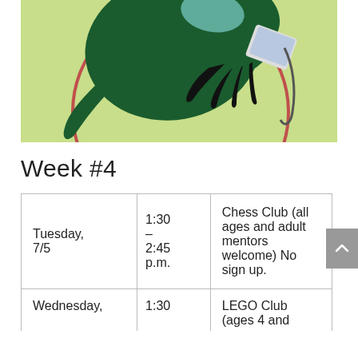[Figure (illustration): Illustration of a green dinosaur character in a red circle, holding something, on a yellow-green background. The bottom portion of the image is visible.]
Week #4
|  |  |  |
| --- | --- | --- |
| Tuesday,
7/5 | 1:30 –
2:45 p.m. | Chess Club
(all ages and adult mentors welcome)
No sign up. |
| Wednesday, | 1:30 | LEGO Club
(ages 4 and |